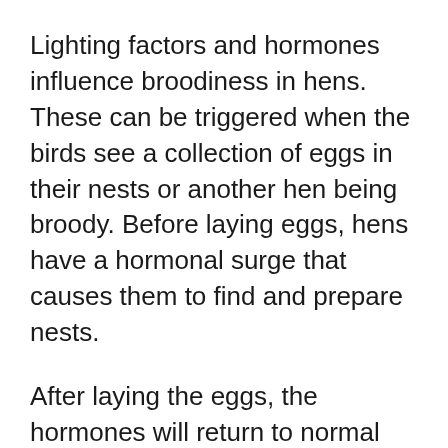Lighting factors and hormones influence broodiness in hens. These can be triggered when the birds see a collection of eggs in their nests or another hen being broody. Before laying eggs, hens have a hormonal surge that causes them to find and prepare nests.
After laying the eggs, the hormones will return to normal levels, but they remain elevated in a few hens. The elevated hormones cause hens to sit in one location for an extended time long after laying eggs.